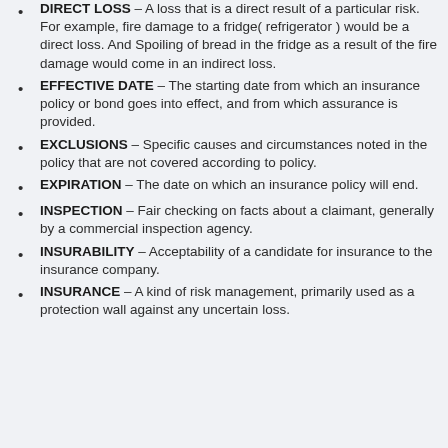DIRECT LOSS – A loss that is a direct result of a particular risk. For example, fire damage to a fridge(refrigerator) would be a direct loss. And Spoiling of bread in the fridge as a result of the fire damage would come in an indirect loss.
EFFECTIVE DATE – The starting date from which an insurance policy or bond goes into effect, and from which assurance is provided.
EXCLUSIONS – Specific causes and circumstances noted in the policy that are not covered according to policy.
EXPIRATION – The date on which an insurance policy will end.
INSPECTION – Fair checking on facts about a claimant, generally by a commercial inspection agency.
INSURABILITY – Acceptability of a candidate for insurance to the insurance company.
INSURANCE – A kind of risk management, primarily used as a protection wall against any uncertain loss.